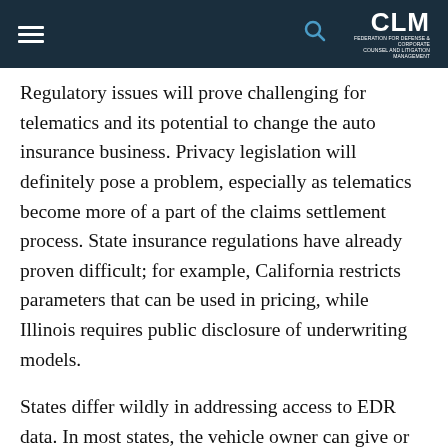CLM
Regulatory issues will prove challenging for telematics and its potential to change the auto insurance business. Privacy legislation will definitely pose a problem, especially as telematics become more of a part of the claims settlement process. State insurance regulations have already proven difficult; for example, California restricts parameters that can be used in pricing, while Illinois requires public disclosure of underwriting models.
States differ wildly in addressing access to EDR data. In most states, the vehicle owner can give or deny permission to download EDR data. At other end of the EDR data